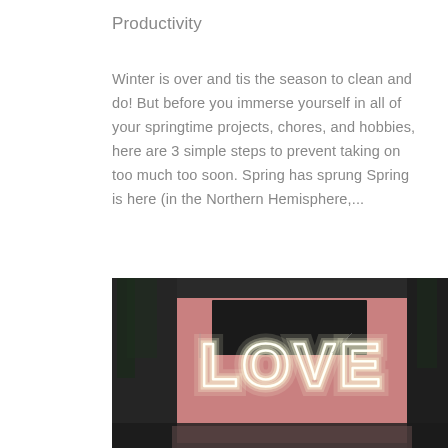Productivity
Winter is over and tis the season to clean and do! But before you immerse yourself in all of your springtime projects, chores, and hobbies, here are 3 simple steps to prevent taking on too much too soon. Spring has sprung Spring is here (in the Northern Hemisphere,...
[Figure (photo): A neon LOVE sign glowing white against a pink wall, photographed through a glass window with reflections of trees and a street scene visible.]